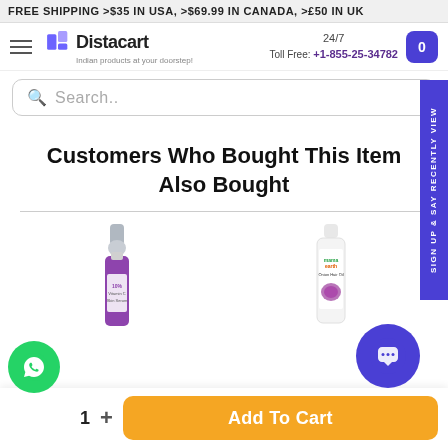FREE SHIPPING >$35 IN USA, >$69.99 IN CANADA, >£50 IN UK
[Figure (logo): Distacart logo with tagline 'Indian products at your doorstep!']
24/7 Toll Free: +1-855-25-34782
Search..
Customers Who Bought This Item Also Bought
[Figure (photo): Product image: 10% Vitamin C Skin Serum dropper bottle]
[Figure (photo): Product image: Mamaearth Onion Hair Oil bottle]
1  +  Add To Cart